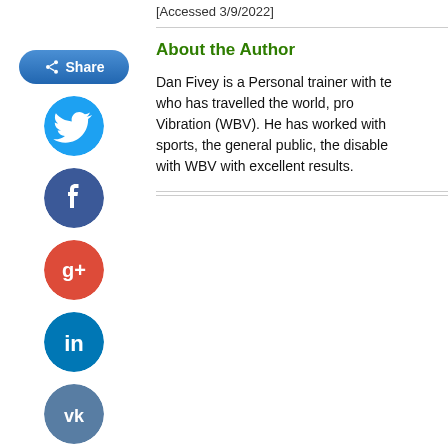[Accessed 3/9/2022]
About the Author
Dan Fivey is a Personal trainer with te... who has travelled the world, pro... Vibration (WBV). He has worked with ... sports, the general public, the disable... with WBV with excellent results.
[Figure (illustration): Social sharing buttons: Share button, Twitter, Facebook, Google+, LinkedIn, VK]